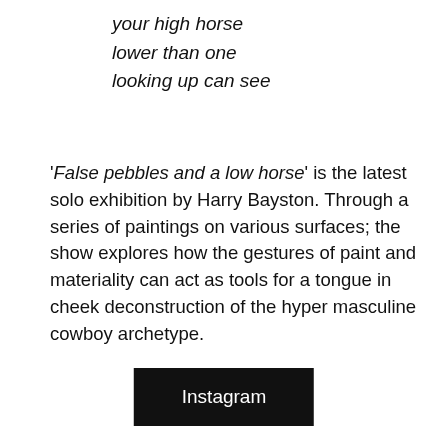your high horse
lower than one
looking up can see
'False pebbles and a low horse' is the latest solo exhibition by Harry Bayston. Through a series of paintings on various surfaces; the show explores how the gestures of paint and materiality can act as tools for a tongue in cheek deconstruction of the hyper masculine cowboy archetype.
Instagram